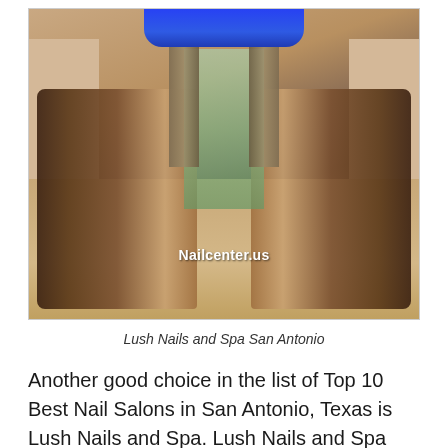[Figure (photo): Interior of Lush Nails and Spa San Antonio showing two rows of pedicure chairs along both walls with a blue-lit ceiling accent, hardwood floor, curtained windows at the far end, and the watermark 'Nailcenter.us' overlaid on the image.]
Lush Nails and Spa San Antonio
Another good choice in the list of Top 10 Best Nail Salons in San Antonio, Texas is Lush Nails and Spa. Lush Nails and Spa brings a touch of luxury to your favorite pastime. The salon offers a variety of nail services but has a wide range